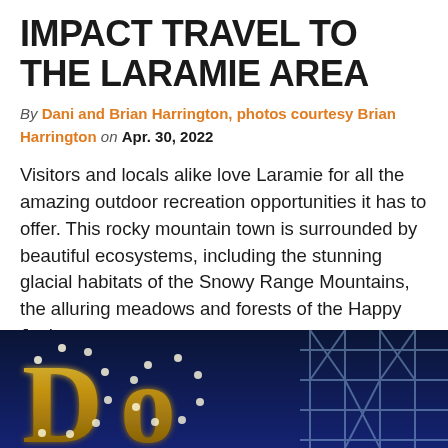IMPACT TRAVEL TO THE LARAMIE AREA
By Dani and Brian Harrington, photos courtesy Brian Harrington on Apr. 30, 2022
Visitors and locals alike love Laramie for all the amazing outdoor recreation opportunities it has to offer. This rocky mountain town is surrounded by beautiful ecosystems, including the stunning glacial habitats of the Snowy Range Mountains, the alluring meadows and forests of the Happy Jack…
Read More →
[Figure (photo): Illuminated golden marquee-style letters spelling 'Do...' against a dark blue night sky background, with metal scaffold structures visible on the right side.]